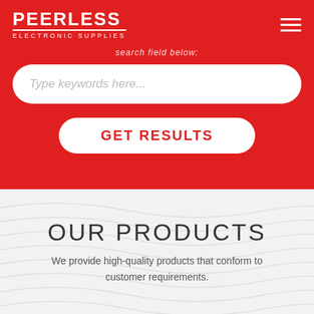PEERLESS ELECTRONIC SUPPLIES
search field below:
Type keywords here...
GET RESULTS
OUR PRODUCTS
We provide high-quality products that conform to customer requirements.